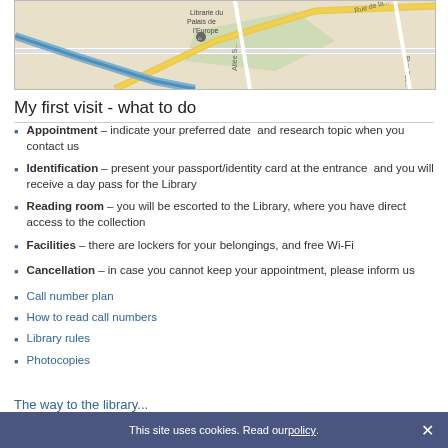[Figure (map): Google Maps screenshot showing Librarie du Palais de l'Europe and surrounding streets including Allée S., Rue de la..., and Rue Tox... with a yellow highlighted route.]
My first visit - what to do
Appointment – indicate your preferred date and research topic when you contact us
Identification – present your passport/identity card at the entrance and you will receive a day pass for the Library
Reading room – you will be escorted to the Library, where you have direct access to the collection
Facilities – there are lockers for your belongings, and free Wi-Fi
Cancellation – in case you cannot keep your appointment, please inform us
Call number plan
How to read call numbers
Library rules
Photocopies
The way to the library...
This site uses cookies. Read our policy.